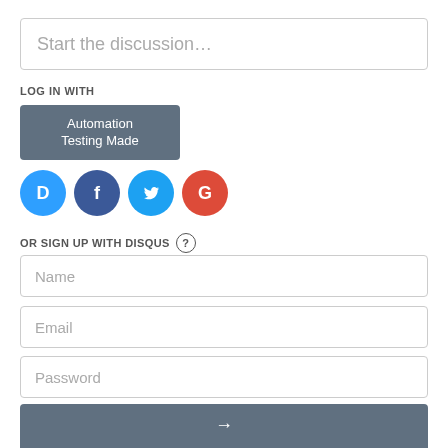Start the discussion…
LOG IN WITH
[Figure (screenshot): Gray button with white text reading 'Automation Testing Made']
[Figure (infographic): Four social media icon circles: Disqus (D, blue), Facebook (f, dark blue), Twitter (bird, light blue), Google (G, red)]
OR SIGN UP WITH DISQUS ?
Name
Email
Password
Please access our Privacy Policy to learn what personal data Disqus collects and your choices about how it is used. All users of our service are also subject to our Terms of Service.
[Figure (other): Gray submit button with right arrow icon]